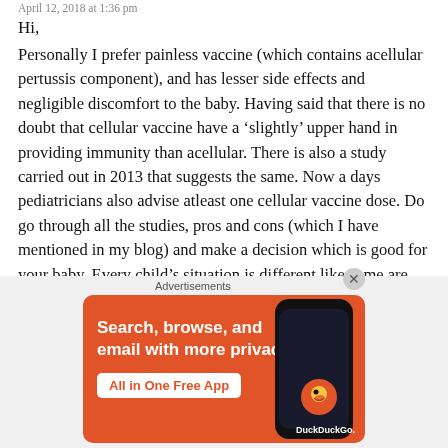April 12, 2018 at 1:36 pm
Hi,
Personally I prefer painless vaccine (which contains acellular pertussis component), and has lesser side effects and negligible discomfort to the baby. Having said that there is no doubt that cellular vaccine have a ‘slightly’ upper hand in providing immunity than acellular. There is also a study carried out in 2013 that suggests the same. Now a days pediatricians also advise atleast one cellular vaccine dose. Do go through all the studies, pros and cons (which I have mentioned in my blog) and make a decision which is good for your baby. Every child’s situation is different like some are LBW, illnesses, multiple babies etc.in which Hexaxim becomes the better option. So make your decision accordingly
[Figure (other): DuckDuckGo advertisement banner: orange background with text 'Search, browse, and email with more privacy. All in One Free App' and image of a smartphone with DuckDuckGo logo]